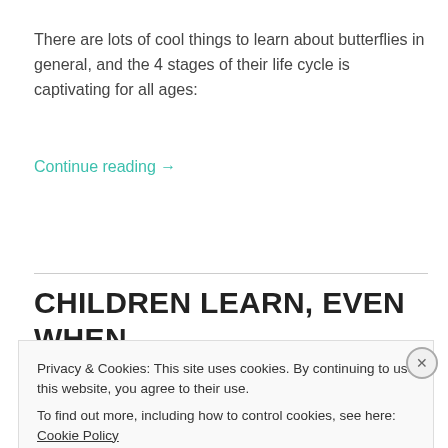There are lots of cool things to learn about butterflies in general, and the 4 stages of their life cycle is captivating for all ages:
Continue reading →
CHILDREN LEARN, EVEN WHEN
Privacy & Cookies: This site uses cookies. By continuing to use this website, you agree to their use.
To find out more, including how to control cookies, see here: Cookie Policy
Close and accept